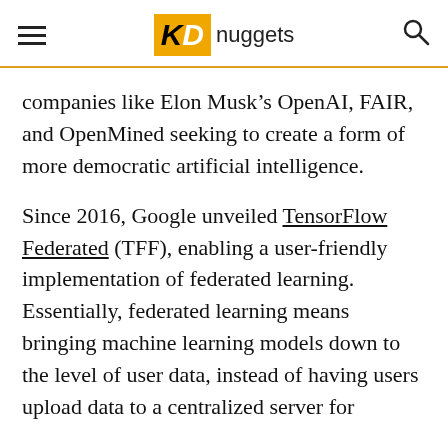KDnuggets
companies like Elon Musk’s OpenAI, FAIR, and OpenMined seeking to create a form of more democratic artificial intelligence.
Since 2016, Google unveiled TensorFlow Federated (TFF), enabling a user-friendly implementation of federated learning. Essentially, federated learning means bringing machine learning models down to the level of user data, instead of having users upload data to a centralized server for